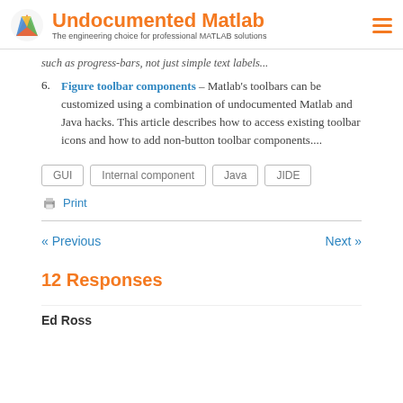Undocumented Matlab — The engineering choice for professional MATLAB solutions
such as progress-bars, not just simple text labels...
Figure toolbar components – Matlab's toolbars can be customized using a combination of undocumented Matlab and Java hacks. This article describes how to access existing toolbar icons and how to add non-button toolbar components....
GUI
Internal component
Java
JIDE
Print
« Previous
Next »
12 Responses
Ed Ross